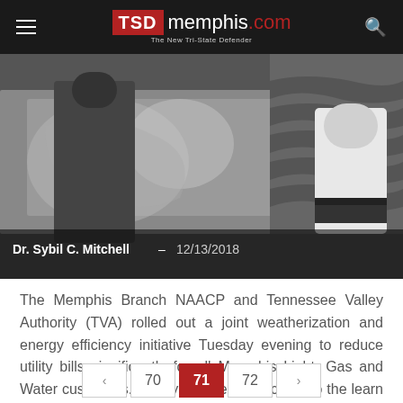TSD memphis.com — The New Tri-State Defender
[Figure (photo): People handling plastic sheeting at a weatherization event; dark background with figures visible on right side.]
Dr. Sybil C. Mitchell – 12/13/2018
The Memphis Branch NAACP and Tennessee Valley Authority (TVA) rolled out a joint weatherization and energy efficiency initiative Tuesday evening to reduce utility bills significantly for all Memphis Light, Gas and Water customers. Nearly 50 attendees came to the learn some easy, practical ways to…
Read more >
‹  70  71  72  ›